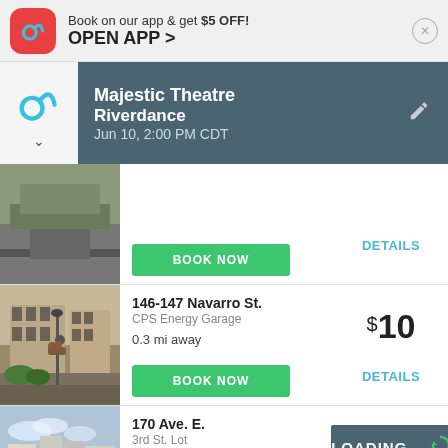Book on our app & get $5 OFF!
OPEN APP >
Majestic Theatre
Riverdance
Jun 10, 2:00 PM CDT
[Figure (screenshot): Street-level parking garage thumbnail]
BOOK NOW
DETAILS
[Figure (photo): Street view of 146-147 Navarro St parking garage]
146-147 Navarro St.
CPS Energy Garage
0.3 mi away
BOOK NOW
$10
DETAILS
[Figure (photo): Street view of 170 Ave. E. 3rd St. Lot parking lot]
170 Ave. E.
3rd St. Lot
0.3 mi away
BOOK NOW
LOADING...
DETAILS